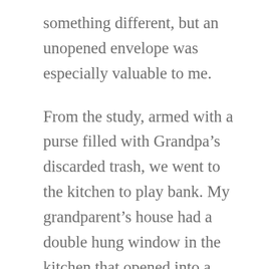something different, but an unopened envelope was especially valuable to me.
From the study, armed with a purse filled with Grandpa's discarded trash, we went to the kitchen to play bank. My grandparent's house had a double hung window in the kitchen that opened into a four season entry area. There were two doors into the entry area, one from the kitchen and the other from the living room. It was the perfect set up for one person to sit behind the window while the other person went through the drive up